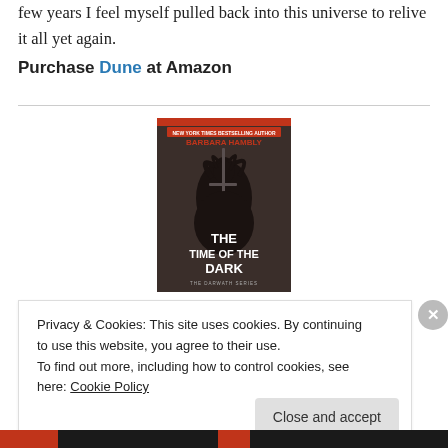few years I feel myself pulled back into this universe to relive it all yet again.
Purchase Dune at Amazon
[Figure (photo): Book cover of 'The Time of the Dark' by Barbara Hambly, The Darwath Series. Shows a dark silhouetted figure with wind-blown hair holding a sword against a dark background. Text at top reads 'NEW YORK TIMES BESTSELLING AUTHOR BARBARA HAMBLY' and bottom reads 'THE DARWATH SERIES'.]
Privacy & Cookies: This site uses cookies. By continuing to use this website, you agree to their use.
To find out more, including how to control cookies, see here: Cookie Policy